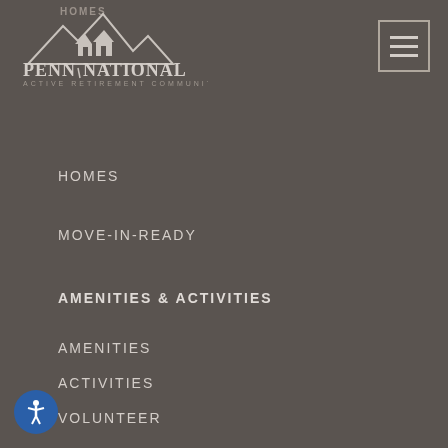[Figure (logo): Penn National Active Retirement Community logo with mountain/house silhouette]
[Figure (other): Hamburger menu icon (three horizontal lines) in a bordered square]
HOMES
HOMES
MOVE-IN-READY
AMENITIES & ACTIVITIES
AMENITIES
ACTIVITIES
VOLUNTEER
LIVING HERE
OUR LOCATION
INTERACTIVE MAP
COMMUNITY